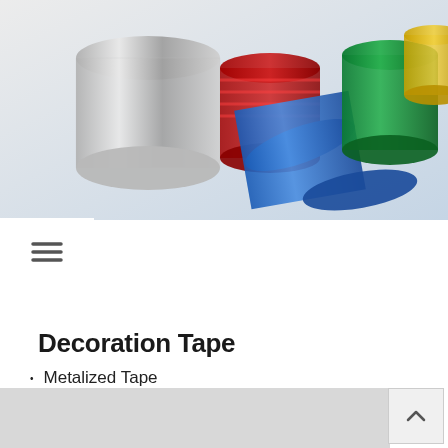[Figure (photo): Photo of metallic decoration tape rolls in silver, red, blue, green, and gold colors arranged together on a white background.]
Decoration Tape
Metalized Tape
Film & Label
Application
– Aesthetic, Decoration, Label, Design